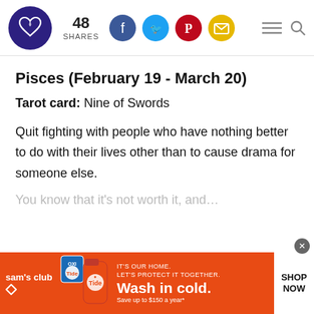48 SHARES — social share icons (Facebook, Twitter, Pinterest, Email) and menu/search icons
Pisces (February 19 - March 20)
Tarot card: Nine of Swords
Quit fighting with people who have nothing better to do with their lives other than to cause drama for someone else.
[Figure (infographic): Sam's Club advertisement banner with Tide products. Orange background. Text: IT'S OUR HOME. LET'S PROTECT IT TOGETHER. Wash in cold. Save up to $150 a year*. SHOP NOW button.]